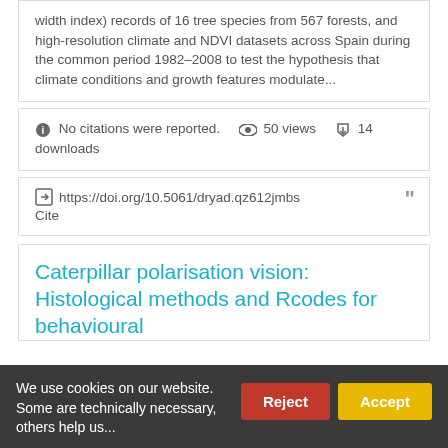width index) records of 16 tree species from 567 forests, and high-resolution climate and NDVI datasets across Spain during the common period 1982–2008 to test the hypothesis that climate conditions and growth features modulate...
No citations were reported.  50 views  14 downloads
https://doi.org/10.5061/dryad.qz612jmbs  Cite
Caterpillar polarisation vision: Histological methods and Rcodes for behavioural
We use cookies on our website. Some are technically necessary, others help us...
Reject
Accept